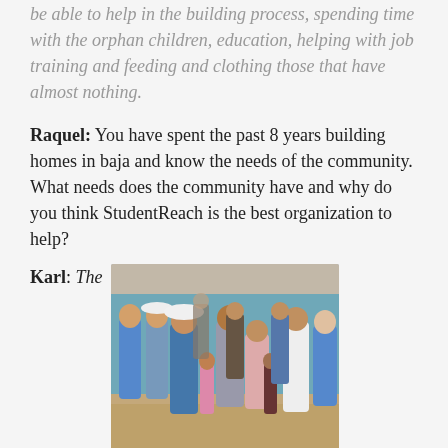be able to help in the building process, spending time with the orphan children, education, helping with job training and feeding and clothing those that have almost nothing.
Raquel: You have spent the past 8 years building homes in baja and know the needs of the community. What needs does the community have and why do you think StudentReach is the best organization to help?
Karl: The
[Figure (photo): Group of people standing outdoors in front of a blue building. Several people wear blue t-shirts (volunteers) and others appear to be community members including children. They are gathered in a circle on dry dirt ground.]
community needs hope. Most people believe that